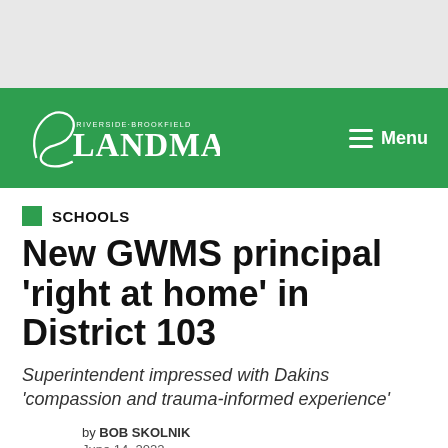[Figure (logo): Riverside-Brookfield Landmark newspaper logo in white on green navigation bar with Menu button]
SCHOOLS
New GWMS principal 'right at home' in District 103
Superintendent impressed with Dakins 'compassion and trauma-informed experience'
by BOB SKOLNIK
June 14, 2022